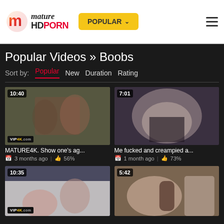Mature HD Porn — POPULAR
Popular Videos » Boobs
Sort by: Popular  New  Duration  Rating
[Figure (screenshot): Video thumbnail 1 with duration 10:40, VIP4K watermark]
MATURE4K. Show one's ag...
3 months ago | 56%
[Figure (screenshot): Video thumbnail 2 with duration 7:01]
Me fucked and creampied a...
1 month ago | 73%
[Figure (screenshot): Video thumbnail 3 with duration 10:35, VIP4K watermark]
[Figure (screenshot): Video thumbnail 4 with duration 5:42]